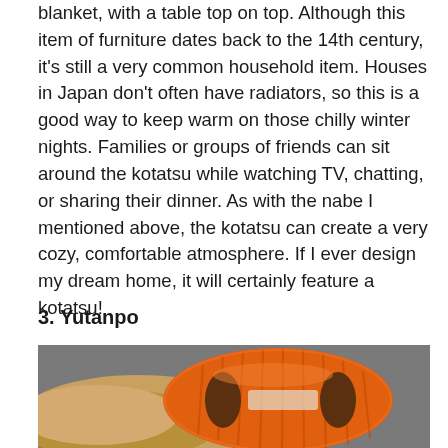blanket, with a table top on top. Although this item of furniture dates back to the 14th century, it's still a very common household item. Houses in Japan don't often have radiators, so this is a good way to keep warm on those chilly winter nights. Families or groups of friends can sit around the kotatsu while watching TV, chatting, or sharing their dinner. As with the nabe I mentioned above, the kotatsu can create a very cozy, comfortable atmosphere. If I ever design my dream home, it will certainly feature a kotatsu!
3. Yutanpo
[Figure (photo): Photo of an orange plastic yutanpo (Japanese hot water bottle) with ribbed surface and handle cutouts, resting on what appears to be a fabric cover, on a gray background.]